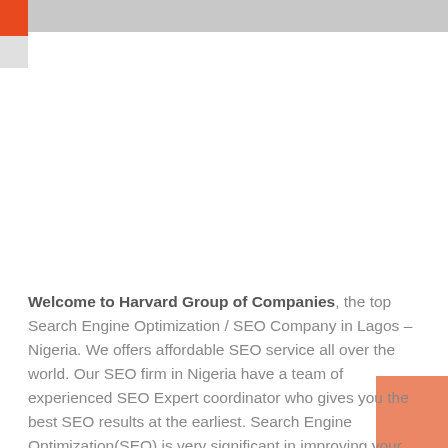Welcome to Harvard Group of Companies, the top Search Engine Optimization / SEO Company in Lagos – Nigeria. We offers affordable SEO service all over the world. Our SEO firm in Nigeria have a team of experienced SEO Expert coordinator who gives you the best SEO results at the earliest. Search Engine Optimization(SEO) is very significant in improving your